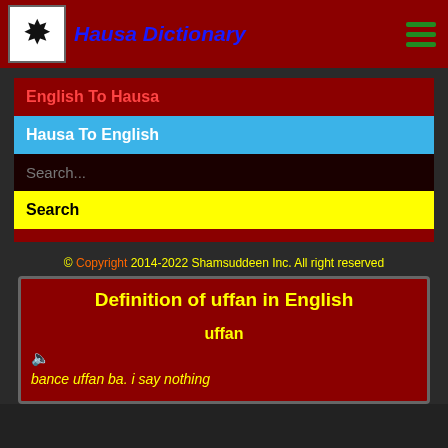Hausa Dictionary
English To Hausa
Hausa To English
Search...
Search
© Copyright 2014-2022 Shamsuddeen Inc. All right reserved
Definition of uffan in English
uffan
bance uffan ba. i say nothing